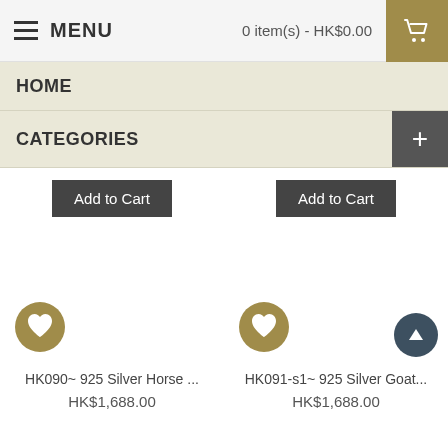MENU | 0 item(s) - HK$0.00
HOME
CATEGORIES
Add to Cart
Add to Cart
HK090~ 925 Silver Horse ...
HK$1,688.00
HK091-s1~ 925 Silver Goat...
HK$1,688.00